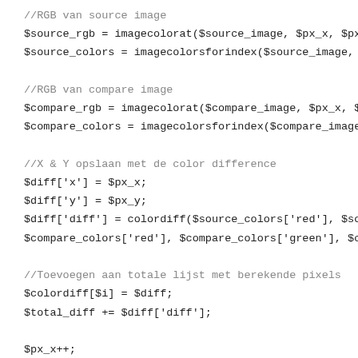//RGB van source image
$source_rgb = imagecolorat($source_image, $px_x, $px_y);
$source_colors = imagecolorsforindex($source_image, $source_r
//RGB van compare image
$compare_rgb = imagecolorat($compare_image, $px_x, $px_y);
$compare_colors = imagecolorsforindex($compare_image, $com
//X & Y opslaan met de color difference
$diff['x'] = $px_x;
$diff['y'] = $px_y;
$diff['diff'] = colordiff($source_colors['red'], $source_colors['green
$compare_colors['red'], $compare_colors['green'], $compare_col
//Toevoegen aan totale lijst met berekende pixels
$colordiff[$i] = $diff;
$total_diff += $diff['diff'];
$px_x++;
$i++;
}